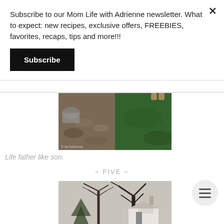Subscribe to our Mom Life with Adrienne newsletter. What to expect: new recipes, exclusive offers, FREEBIES, favorites, recaps, tips and more!!!
Subscribe
[Figure (photo): Backyard scene showing dirt/gravel on the left and green grass on the right, with a person's feet visible at the top. Watermark reads 'All Adrienne' with a website URL.]
Life father like son.
~ FIVE ~
[Figure (photo): Outdoor scene showing bare winter trees against a sky, with a white house/building visible in the background.]